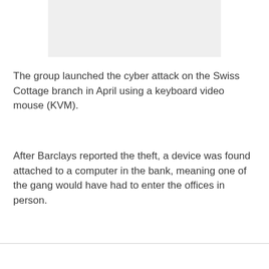[Figure (photo): A light gray rectangular image placeholder at the top of the page]
The group launched the cyber attack on the Swiss Cottage branch in April using a keyboard video mouse (KVM).
After Barclays reported the theft, a device was found attached to a computer in the bank, meaning one of the gang would have had to enter the offices in person.